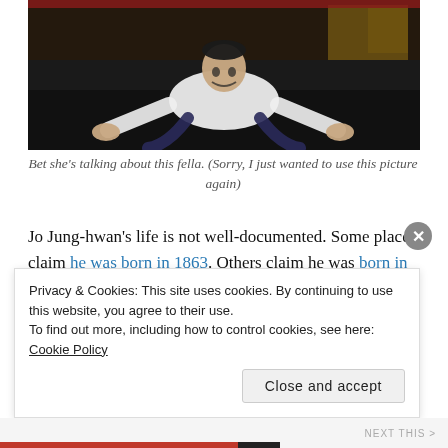[Figure (photo): A performer in a white shirt doing a dramatic floor pose on a dark stage, hands splayed on the ground, looking up with an expressive face. Stage props and decorations visible in background.]
Bet she's talking about this fella. (Sorry, I just wanted to use this picture again)
Jo Jung-hwan's life is not well-documented. Some places claim he was born in 1863. Others claim he was born in 1884. He apparently attended a Japanese-language school in Seoul. If we look at his work, he really is known for novels. His
Privacy & Cookies: This site uses cookies. By continuing to use this website, you agree to their use.
To find out more, including how to control cookies, see here: Cookie Policy
Close and accept